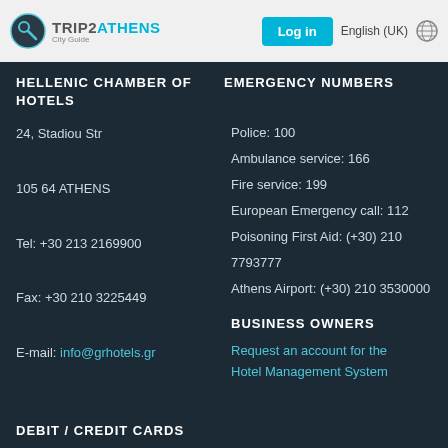TRIP2ATHENS City Guide — Log in | English (UK)
HELLENIC CHAMBER OF HOTELS
EMERGENCY NUMBERS
24, Stadiou Str
105 64 ATHENS
Tel: +30 213 2169900
Fax: +30 210 3225449
E-mail: info@grhotels.gr
Police: 100
Ambulance service: 166
Fire service: 199
European Emergency call: 112
Poisoning First Aid: (+30) 210 7793777
Athens Airport: (+30) 210 3530000
BUSINESS OWNERS
Request an account for the Hotel Management System
DEBIT / CREDIT CARDS